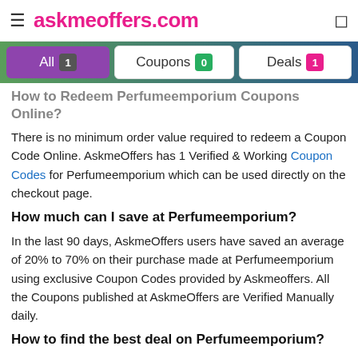≡ askmeoffers.com
How to Redeem Perfumeemporium Coupons Online?
There is no minimum order value required to redeem a Coupon Code Online. AskmeOffers has 1 Verified & Working Coupon Codes for Perfumeemporium which can be used directly on the checkout page.
How much can I save at Perfumeemporium?
In the last 90 days, AskmeOffers users have saved an average of 20% to 70% on their purchase made at Perfumeemporium using exclusive Coupon Codes provided by Askmeoffers. All the Coupons published at AskmeOffers are Verified Manually daily.
How to find the best deal on Perfumeemporium?
You can manually copy and try all available coupons to find the one with the best discount, or you can also look at the discount